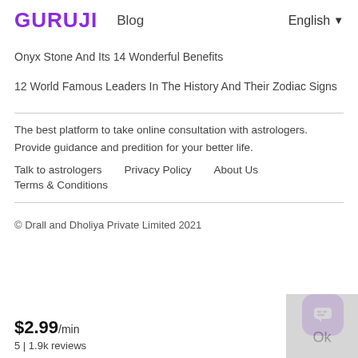GURUJI  Blog  English
Onyx Stone And Its 14 Wonderful Benefits
12 World Famous Leaders In The History And Their Zodiac Signs
The best platform to take online consultation with astrologers. Provide guidance and predition for your better life.
Talk to astrologers    Privacy Policy    About Us
Terms & Conditions
© Drall and Dholiya Private Limited 2021
$2.99/min
5 | 1.9k reviews